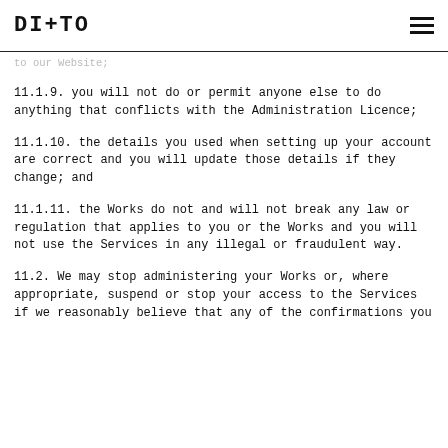DITTO
to our Website;
11.1.9. you will not do or permit anyone else to do anything that conflicts with the Administration Licence;
11.1.10. the details you used when setting up your account are correct and you will update those details if they change; and
11.1.11. the Works do not and will not break any law or regulation that applies to you or the Works and you will not use the Services in any illegal or fraudulent way.
11.2. We may stop administering your Works or, where appropriate, suspend or stop your access to the Services if we reasonably believe that any of the confirmations you